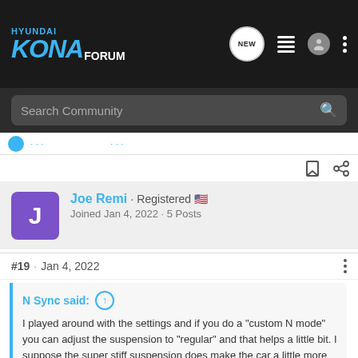HYUNDAI KONA FORUM
Search Community
Joe Remi · Registered
Joined Jan 4, 2022 · 5 Posts
#19 · Jan 4, 2022
N Sync said: ↑
I played around with the settings and if you do a "custom N mode" you can adjust the suspension to "regular" and that helps a little bit. I suppose the super stiff suspension does make the car a little more dramatic but I can see how it can be too much for some people. For me, it's livable. The funny thing is I think it's actually firmer than my Alfa Romeo 4C so Hyundai really is trying to make this vehicle a hardcore sports car!